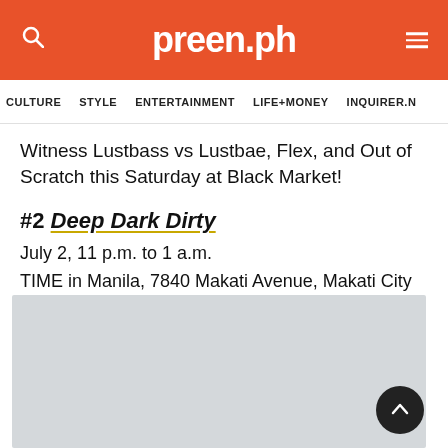preen.ph
CULTURE   STYLE   ENTERTAINMENT   LIFE+MONEY   INQUIRER.N
Witness Lustbass vs Lustbae, Flex, and Out of Scratch this Saturday at Black Market!
#2 Deep Dark Dirty
July 2, 11 p.m. to 1 a.m.
TIME in Manila, 7840 Makati Avenue, Makati City
[Figure (photo): Gray placeholder image for event photo]